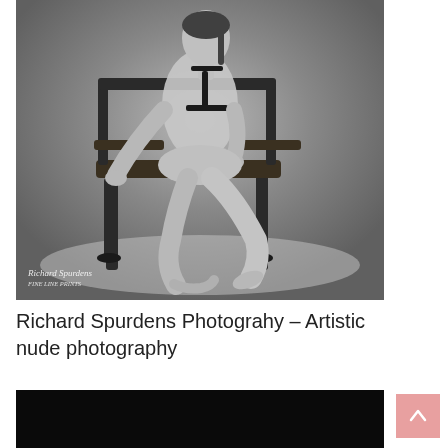[Figure (photo): Black and white artistic nude photograph of a woman seated on an antique chair, wearing only a harness/strap accessory. Studio lighting, grey background. Photographer's watermark signature at bottom left reading 'Richard Spurdens / FINE LINE PRINTS'.]
Richard Spurdens Photograhy – Artistic nude photography
[Figure (photo): Partially visible photo at bottom of page, appears very dark/black.]